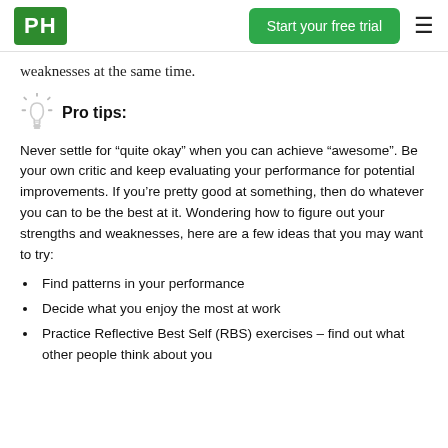PH | Start your free trial
weaknesses at the same time.
Pro tips:
Never settle for “quite okay” when you can achieve “awesome”. Be your own critic and keep evaluating your performance for potential improvements. If you’re pretty good at something, then do whatever you can to be the best at it. Wondering how to figure out your strengths and weaknesses, here are a few ideas that you may want to try:
Find patterns in your performance
Decide what you enjoy the most at work
Practice Reflective Best Self (RBS) exercises – find out what other people think about you